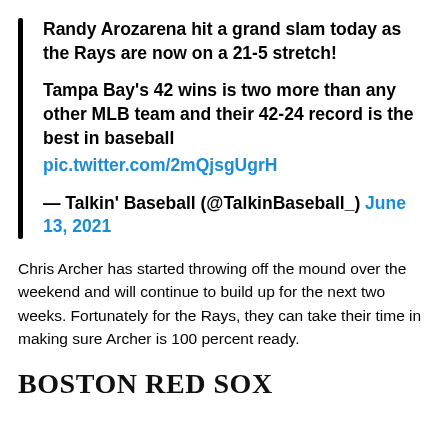Randy Arozarena hit a grand slam today as the Rays are now on a 21-5 stretch!

Tampa Bay's 42 wins is two more than any other MLB team and their 42-24 record is the best in baseball
pic.twitter.com/2mQjsgUgrH

— Talkin' Baseball (@TalkinBaseball_) June 13, 2021
Chris Archer has started throwing off the mound over the weekend and will continue to build up for the next two weeks. Fortunately for the Rays, they can take their time in making sure Archer is 100 percent ready.
BOSTON RED SOX